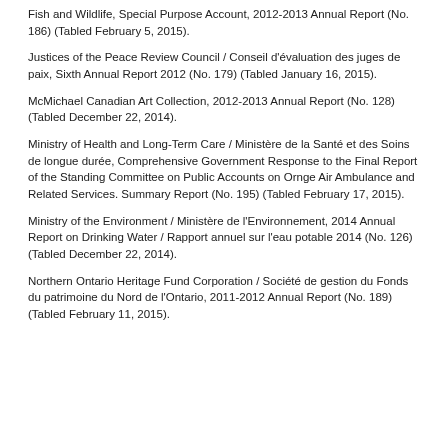Fish and Wildlife, Special Purpose Account, 2012-2013 Annual Report (No. 186) (Tabled February 5, 2015).
Justices of the Peace Review Council / Conseil d'évaluation des juges de paix, Sixth Annual Report 2012 (No. 179) (Tabled January 16, 2015).
McMichael Canadian Art Collection, 2012-2013 Annual Report (No. 128) (Tabled December 22, 2014).
Ministry of Health and Long-Term Care / Ministère de la Santé et des Soins de longue durée, Comprehensive Government Response to the Final Report of the Standing Committee on Public Accounts on Ornge Air Ambulance and Related Services. Summary Report (No. 195) (Tabled February 17, 2015).
Ministry of the Environment / Ministère de l'Environnement, 2014 Annual Report on Drinking Water / Rapport annuel sur l'eau potable 2014 (No. 126) (Tabled December 22, 2014).
Northern Ontario Heritage Fund Corporation / Société de gestion du Fonds du patrimoine du Nord de l'Ontario, 2011-2012 Annual Report (No. 189) (Tabled February 11, 2015).